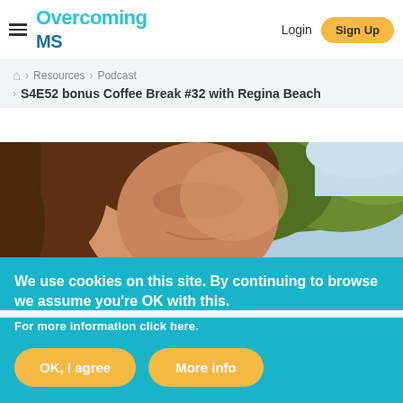Overcoming MS — Login | Sign Up
Resources > Podcast > S4E52 bonus Coffee Break #32 with Regina Beach
[Figure (photo): Close-up photo of a woman with long brown hair smiling outdoors, with green trees in the background and bright sunlight.]
We use cookies on this site. By continuing to browse we assume you're OK with this.
For more information click here.
OK, I agree | More info